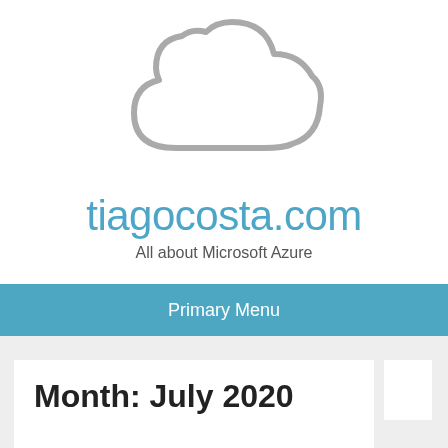[Figure (illustration): Cloud outline icon in light gray, centered at the top of the page.]
tiagocosta.com
All about Microsoft Azure
Primary Menu
Month: July 2020